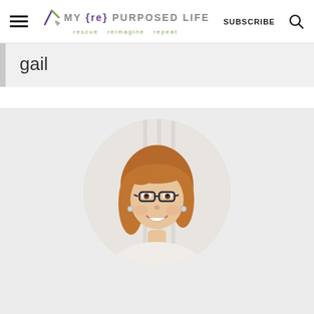MY {re} PURPOSED LIFE — rescue reimagine repeat — SUBSCRIBE
gail
[Figure (photo): Circular portrait photo of a smiling woman with reddish-brown hair and dark-rimmed glasses, wearing a light top, with a bright background behind her]